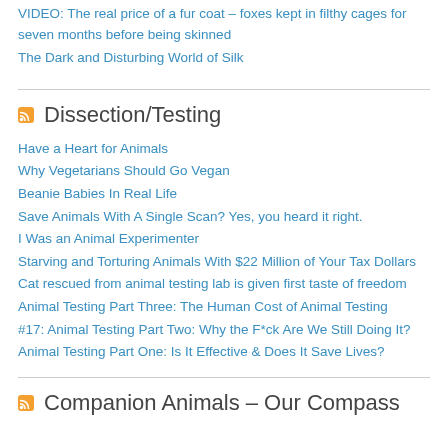VIDEO: The real price of a fur coat – foxes kept in filthy cages for seven months before being skinned
The Dark and Disturbing World of Silk
Dissection/Testing
Have a Heart for Animals
Why Vegetarians Should Go Vegan
Beanie Babies In Real Life
Save Animals With A Single Scan? Yes, you heard it right.
I Was an Animal Experimenter
Starving and Torturing Animals With $22 Million of Your Tax Dollars
Cat rescued from animal testing lab is given first taste of freedom
Animal Testing Part Three: The Human Cost of Animal Testing
#17: Animal Testing Part Two: Why the F*ck Are We Still Doing It?
Animal Testing Part One: Is It Effective & Does It Save Lives?
Companion Animals – Our Compass